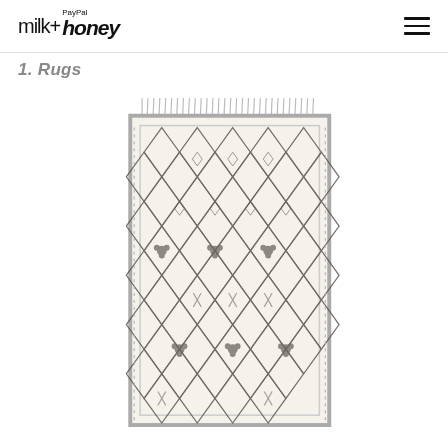milk+ PayPal honey
1. Rugs
[Figure (photo): A white Moroccan-style Berber rug with dark grey diamond lattice pattern, small floral/cross motifs, and fringe at the top edge.]